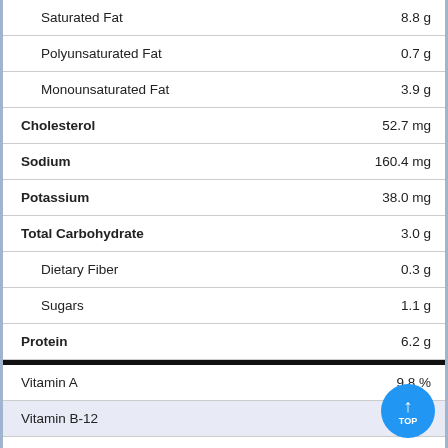| Nutrient | Amount |
| --- | --- |
| Saturated Fat | 8.8 g |
| Polyunsaturated Fat | 0.7 g |
| Monounsaturated Fat | 3.9 g |
| Cholesterol | 52.7 mg |
| Sodium | 160.4 mg |
| Potassium | 38.0 mg |
| Total Carbohydrate | 3.0 g |
| Dietary Fiber | 0.3 g |
| Sugars | 1.1 g |
| Protein | 6.2 g |
| Vitamin A | 9.8 % |
| Vitamin B-12 | 0.9 % |
| Vitamin B-6 | 0.6 % |
| Vitamin C | 0.3 % |
| Vitamin D | 3.9 |